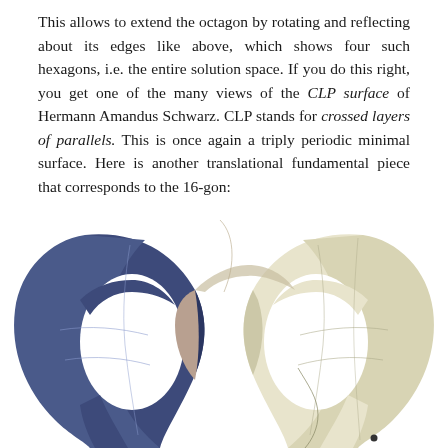This allows to extend the octagon by rotating and reflecting about its edges like above, which shows four such hexagons, i.e. the entire solution space. If you do this right, you get one of the many views of the CLP surface of Hermann Amandus Schwarz. CLP stands for crossed layers of parallels. This is once again a triply periodic minimal surface. Here is another translational fundamental piece that corresponds to the 16-gon:
[Figure (illustration): A 3D rendering of two pieces of the CLP (crossed layers of parallels) triply periodic minimal surface. The left piece is dark blue/navy and the right piece is cream/beige. Both pieces have saddle-shaped, twisted geometry with curved edges and visible mesh lines on the surfaces. They are arranged side by side with curved concave regions creating a symmetric, flowing mathematical surface shape.]